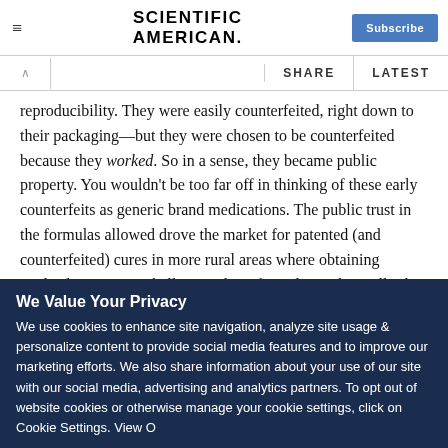Scientific American — Subscribe
reproducibility. They were easily counterfeited, right down to their packaging—but they were chosen to be counterfeited because they worked. So in a sense, they became public property. You wouldn't be too far off in thinking of these early counterfeits as generic brand medications. The public trust in the formulas allowed drove the market for patented (and counterfeited) cures in more rural areas where obtaining medical care was a challenge. These formulas in their tell-tale
We Value Your Privacy
We use cookies to enhance site navigation, analyze site usage & personalize content to provide social media features and to improve our marketing efforts. We also share information about your use of our site with our social media, advertising and analytics partners. To opt out of website cookies or otherwise manage your cookie settings, click on Cookie Settings. View O